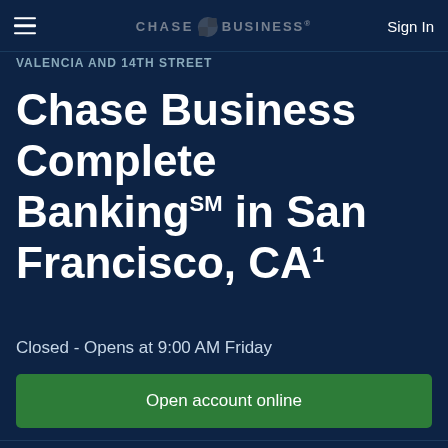CHASE FOR BUSINESS — Sign In
VALENCIA AND 14TH STREET
Chase Business Complete BankingSM in San Francisco, CA1
Closed - Opens at 9:00 AM Friday
Open account online
299 Valencia St
San Francisco, CA 94103
(415) 701 0408